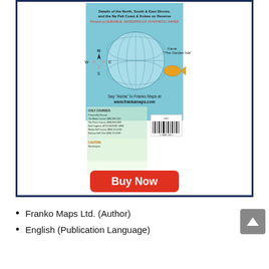[Figure (map): Back cover of a Franko Maps product showing a map of Kauai 'The Garden Isle' with compass rose, globe illustration, tropical fish images, golf course listings, text about the Na Pali Coast and Napali Stream, barcode (UPC), and website www.frankamaps.com. Text reads 'Details of the North, South & East Shores, and the Na Pali Coast & Kokee on Reverse', 'Printed on DURABLE, WATERPROOF SYNTHETIC PAPER']
Buy Now
Franko Maps Ltd. (Author)
English (Publication Language)